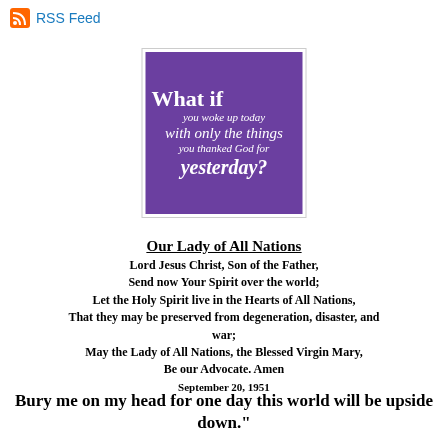RSS Feed
[Figure (illustration): Purple square image with white text reading: What if you woke up today with only the things you thanked God for yesterday?]
Our Lady of All Nations
Lord Jesus Christ, Son of the Father,
Send now Your Spirit over the world;
Let the Holy Spirit live in the Hearts of All Nations,
That they may be preserved from degeneration, disaster, and war;
May the Lady of All Nations, the Blessed Virgin Mary,
Be our Advocate. Amen
September 20, 1951
Bury me on my head for one day this world will be upside down."